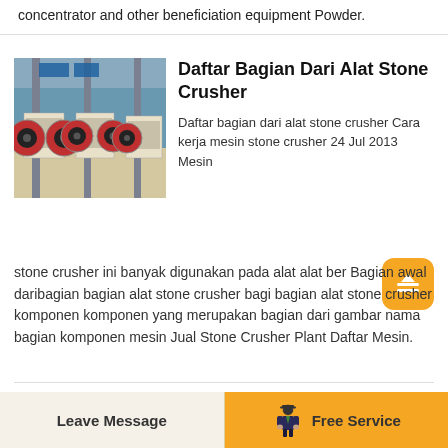concentrator and other beneficiation equipment Powder.
[Figure (photo): Industrial stone crusher machines in a factory setting, multiple jaw crushers with large flywheels, yellow and cream colored machinery in a warehouse]
Daftar Bagian Dari Alat Stone Crusher
Daftar bagian dari alat stone crusher Cara kerja mesin stone crusher 24 Jul 2013 Mesin stone crusher ini banyak digunakan pada alat alat ber Bagian awal daribagian bagian alat stone crusher bagian bagian alat stone crusher komponen komponen yang merupakan bagian dari gambar nama bagian komponen mesin Jual Stone Crusher Plant Daftar Mesin.
[Figure (photo): Stone crusher machine with large red flywheel, industrial mining equipment outdoors]
Gambar Bagian Bagian
Leave Message
Free Service